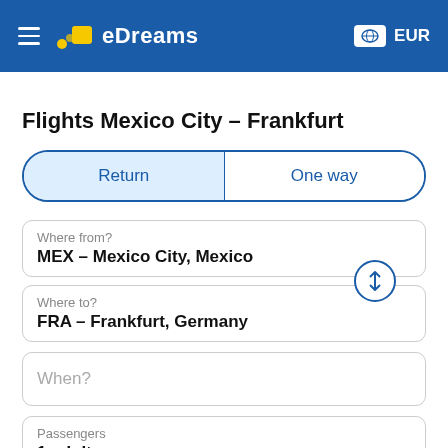[Figure (logo): eDreams app header with hamburger menu, eDreams logo, globe icon and EUR currency label on blue background]
Flights Mexico City – Frankfurt
Return | One way (tab selector)
Where from?
MEX – Mexico City, Mexico
Where to?
FRA – Frankfurt, Germany
When?
Passengers
1 adult